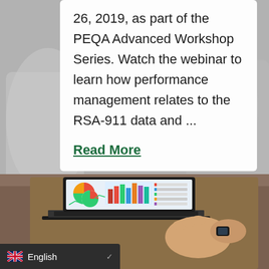26, 2019, as part of the PEQA Advanced Workshop Series. Watch the webinar to learn how performance management relates to the RSA-911 data and ...
Read More
[Figure (photo): Photo of a person's hands typing on a laptop with charts and graphs visible on the screen including bar charts, pie charts, and line graphs]
English